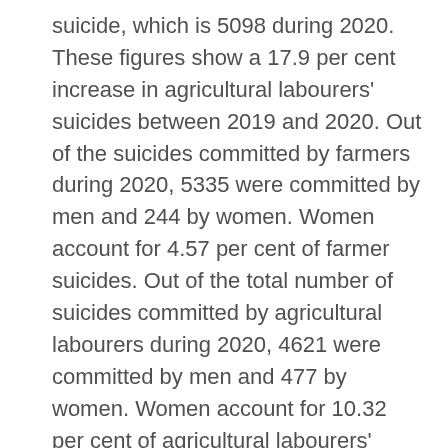suicide, which is 5098 during 2020. These figures show a 17.9 per cent increase in agricultural labourers' suicides between 2019 and 2020. Out of the suicides committed by farmers during 2020, 5335 were committed by men and 244 by women. Women account for 4.57 per cent of farmer suicides. Out of the total number of suicides committed by agricultural labourers during 2020, 4621 were committed by men and 477 by women. Women account for 10.32 per cent of agricultural labourers' suicides.
The statistics being released from time to time by the National Crime Records Bureau on the number of suicides committed by farmers and agricultural labourers in the country have been